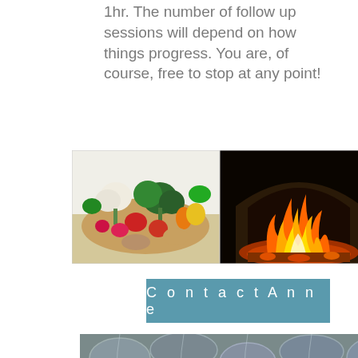1hr. The number of follow up sessions will depend on how things progress. You are, of course, free to stop at any point!
[Figure (photo): Three food-related photos side by side: colorful fresh vegetables on left, wood-fired oven with flames in center, and a plate of colorful spices on right]
Contact Anne
[Figure (photo): Close-up photo of wet rounded pebbles or stones with a bubbly, textured surface]